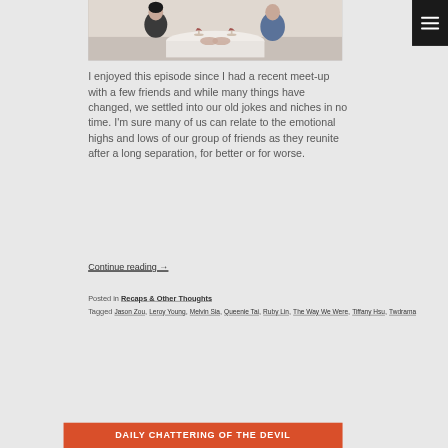[Figure (photo): Two people sitting at a restaurant table holding hands, wine glasses on the table, indoor setting]
I enjoyed this episode since I had a recent meet-up with a few friends and while many things have changed, we settled into our old jokes and niches in no time. I'm sure many of us can relate to the emotional highs and lows of our group of friends as they reunite after a long separation, for better or for worse.
Continue reading →
Posted in Recaps & Other Thoughts
Tagged Jason Zou, Leroy Young, Melvin Sia, Queenie Tai, Ruby Lin, The Way We Were, Tiffany Hsu, Twdrama
DAILY CHATTERING OF THE DEVIL